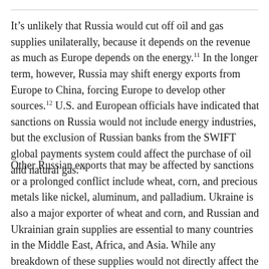It's unlikely that Russia would cut off oil and gas supplies unilaterally, because it depends on the revenue as much as Europe depends on the energy.[11] In the longer term, however, Russia may shift energy exports from Europe to China, forcing Europe to develop other sources.[12] U.S. and European officials have indicated that sanctions on Russia would not include energy industries, but the exclusion of Russian banks from the SWIFT global payments system could affect the purchase of oil and natural gas.[13]
Other Russian exports that may be affected by sanctions or a prolonged conflict include wheat, corn, and precious metals like nickel, aluminum, and palladium. Ukraine is also a major exporter of wheat and corn, and Russian and Ukrainian grain supplies are essential to many countries in the Middle East, Africa, and Asia. While any breakdown of these supplies would not directly affect the United States,